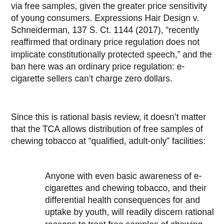via free samples, given the greater price sensitivity of young consumers. Expressions Hair Design v. Schneiderman, 137 S. Ct. 1144 (2017), “recently reaffirmed that ordinary price regulation does not implicate constitutionally protected speech,” and the ban here was an ordinary price regulation: e-cigarette sellers can’t charge zero dollars.
Since this is rational basis review, it doesn’t matter that the TCA allows distribution of free samples of chewing tobacco at “qualified, adult-only” facilities:
Anyone with even basic awareness of e-cigarettes and chewing tobacco, and their differential health consequences for and uptake by youth, will readily discern rational reasons to treat free samples of chewing tobacco differently from free samples of e-cigarettes. E-cigarettes are discreet and trendy in a way that chewing tobacco is not. Additionally, Congress’ limited exemption for free samples of chewing tobacco in specified, controlled circumstances reflects Congress’ knowledge of youth access and usage derived from years of experience